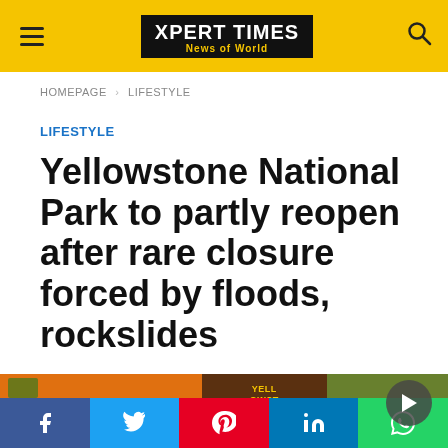XPERT TIMES — News of World
HOMEPAGE › LIFESTYLE
LIFESTYLE
Yellowstone National Park to partly reopen after rare closure forced by floods, rockslides
[Figure (photo): Colorful outdoor scene with a sign reading YELLOWSTONE ZIPLINE, orange building, greenery, and a play button overlay]
Social share bar: Facebook, Twitter, Pinterest, LinkedIn, WhatsApp